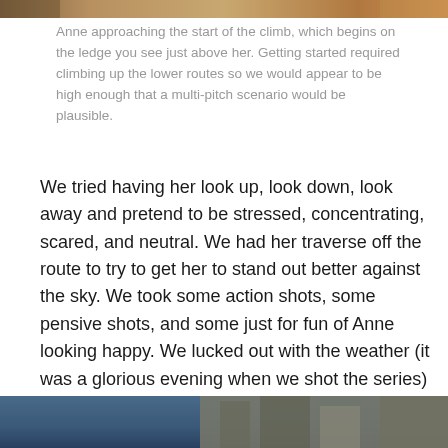[Figure (photo): Top edge of a photo showing a rocky mountain climbing scene]
Anne approaching the start of the climb, which begins on the ledge you see just above her. Getting started required climbing up the lower routes so we would appear to be high enough that a multi-pitch scenario would be plausible.
We tried having her look up, look down, look away and pretend to be stressed, concentrating, scared, and neutral. We had her traverse off the route to try to get her to stand out better against the sky. We took some action shots, some pensive shots, and some just for fun of Anne looking happy. We lucked out with the weather (it was a glorious evening when we shot the series) and, in the end, one of the shots turned out well enough that – yes – it will be on the cover of the book!
[Figure (photo): Bottom portion of a photo showing a rocky mountain landscape with blue sky]